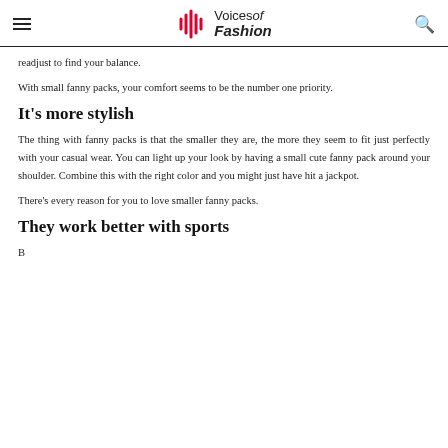Voices of Fashion
readjust to find your balance.
With small fanny packs, your comfort seems to be the number one priority.
It’s more stylish
The thing with fanny packs is that the smaller they are, the more they seem to fit just perfectly with your casual wear. You can light up your look by having a small cute fanny pack around your shoulder. Combine this with the right color and you might just have hit a jackpot.
There’s every reason for you to love smaller fanny packs.
They work better with sports